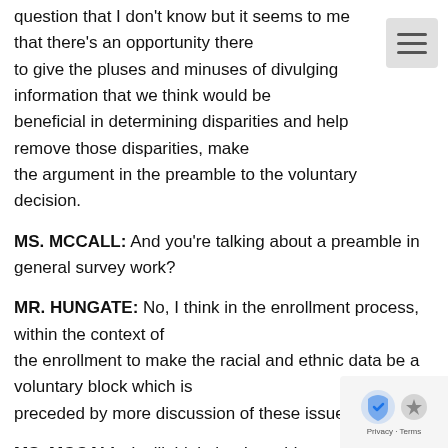question that I don't know but it seems to me that there's an opportunity there to give the pluses and minuses of divulging information that we think would be beneficial in determining disparities and help remove those disparities, make the argument in the preamble to the voluntary decision.
MS. MCCALL: And you're talking about a preamble in general survey work?
MR. HUNGATE: No, I think in the enrollment process, within the context of the enrollment to make the racial and ethnic data be a voluntary block which is preceded by more discussion of these issues.
MS. MCCALL: I still think that I would, my answer to th still it